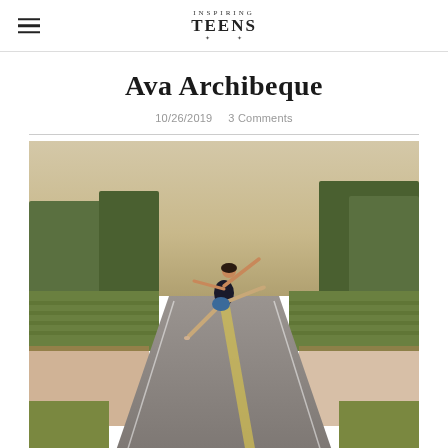Inspiring Teens (logo/navigation header)
Ava Archibeque
10/26/2019   3 Comments
[Figure (photo): A dancer leaping in a grand jeté pose on a rural road lined with vineyards and trees, wearing a dark leotard and denim shorts, photographed outdoors in warm evening light.]